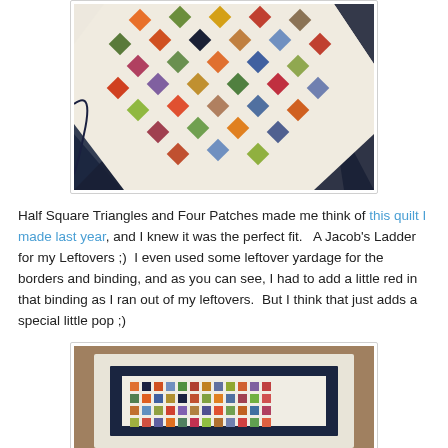[Figure (photo): Close-up photo of a colorful Jacob's Ladder quilt with multicolored diamond patches on a white background, bordered with dark navy floral fabric.]
Half Square Triangles and Four Patches made me think of this quilt I made last year, and I knew it was the perfect fit.   A Jacob's Ladder for my Leftovers ;)  I even used some leftover yardage for the borders and binding, and as you can see, I had to add a little red in that binding as I ran out of my leftovers.  But I think that just adds a special little pop ;)
[Figure (photo): Photo of a small completed Jacob's Ladder quilt laid flat on a carpet, showing colorful patchwork squares with a dark floral border and white quilted outer border.]